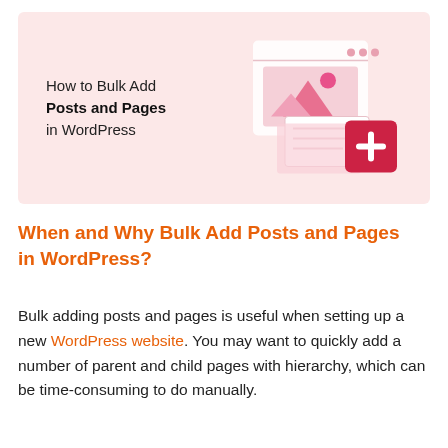[Figure (illustration): Pink background hero banner with text 'How to Bulk Add Posts and Pages in WordPress' on the left and a WordPress-style add-content illustration (image frame with mountains/sun, stacked documents, and a red plus button) on the right.]
When and Why Bulk Add Posts and Pages in WordPress?
Bulk adding posts and pages is useful when setting up a new WordPress website. You may want to quickly add a number of parent and child pages with hierarchy, which can be time-consuming to do manually.